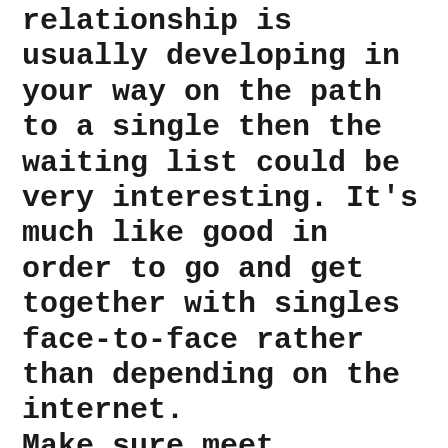relationship is usually developing in your way on the path to a single then the waiting list could be very interesting. It's much like good in order to go and get together with singles face-to-face rather than depending on the internet.
Make sure meet international singles is